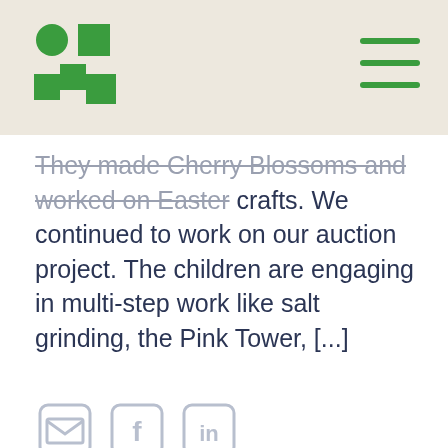[Figure (logo): Green geometric logo made of circles and squares arranged in a grid pattern]
[Figure (other): Hamburger menu icon with three green horizontal lines]
They made Cherry Blossoms and worked on Easter crafts. We continued to work on our auction project. The children are engaging in multi-step work like salt grinding, the Pink Tower, [...]
[Figure (other): Row of three social share icons: email envelope, Facebook f, LinkedIn in — all light gray outlined]